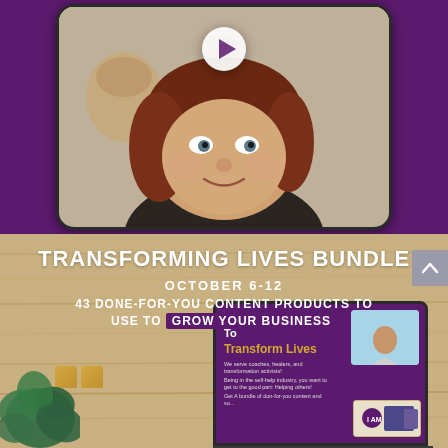[Figure (screenshot): Mobile phone mockup showing a video thumbnail of a woman with brown hair making a face at the camera, with a play button overlay. Background shows a room with warm beige/tan tones.]
[Figure (infographic): Promotional banner for 'Transforming Lives Bundle' on a wooden background. Contains headline text, date, and a laptop mockup showing a purple screen with 'Your Calling Is To Transform Lives' text and product images. Foreground has green plants and small wooden blocks.]
TRANSFORMING LIVES BUNDLE
OCTOBER 6-12
43 DONE-FOR-YOU CONTENT PRODUCTS TO USE TO GROW YOUR BUSINESS
Your Calling Is To Transform Lives
We serve coaches, healers, and transformation activists! Being in the self-help industry, you want to get to the good part: Helping others! Get A bundle of don-for-you content and so...